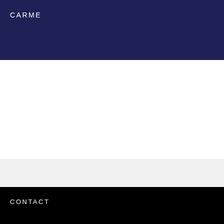CARME
CONTACT
[Figure (logo): Université Angers logo: white circular UA mark with university name in white text on black background]